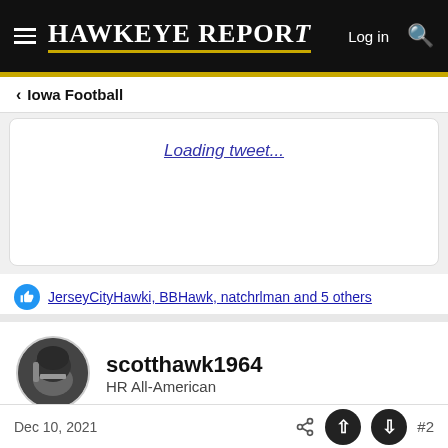HAWKEYE REPORT — Log in
< Iowa Football
Loading tweet...
JerseyCityHawki, BBHawk, natchrlman and 5 others
scotthawk1964
HR All-American
Dec 10, 2021  #2